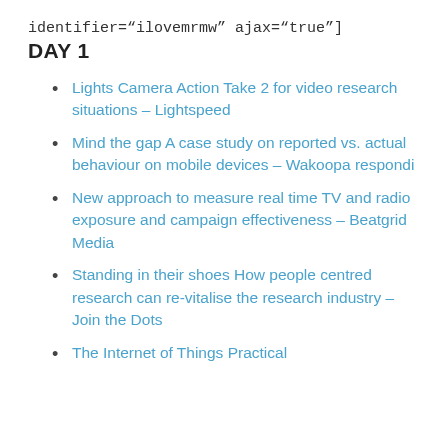identifier="ilovemrmw" ajax="true"]
DAY 1
Lights Camera Action Take 2 for video research situations – Lightspeed
Mind the gap A case study on reported vs. actual behaviour on mobile devices – Wakoopa respondi
New approach to measure real time TV and radio exposure and campaign effectiveness – Beatgrid Media
Standing in their shoes How people centred research can re-vitalise the research industry – Join the Dots
The Internet of Things Practical